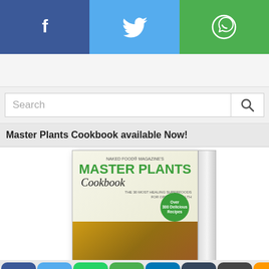[Figure (infographic): Social share bar with Facebook (blue), Twitter (light blue), and WhatsApp (green) icons]
[Figure (infographic): Advertisement banner placeholder, light gray background]
[Figure (infographic): Search bar with placeholder text 'Search' and magnifying glass button]
Master Plants Cookbook available Now!
[Figure (photo): Master Plants Cookbook book cover showing title 'MASTER PLANTS Cookbook' by Naked Food Magazine with food imagery]
[Figure (infographic): Row of social sharing icons: Facebook, Twitter, WhatsApp, SMS, LinkedIn, Tumblr, WordPress, Amazon, Gmail, Viadeo, Outlook]
[Figure (infographic): Bottom row icons: Print, AddThis, and scroll-to-top button (dark background with up arrow)]